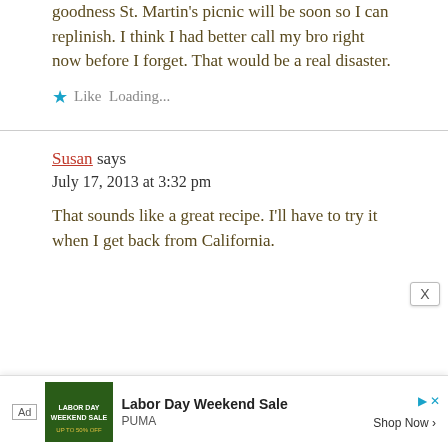goodness St. Martin's picnic will be soon so I can replinish. I think I had better call my bro right now before I forget. That would be a real disaster.
Like Loading...
Susan says
July 17, 2013 at 3:32 pm
That sounds like a great recipe. I'll have to try it when I get back from California.
[Figure (screenshot): Advertisement banner for Labor Day Weekend Sale by PUMA with Shop Now button]